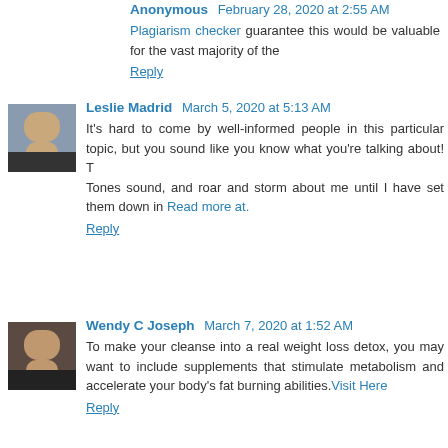Anonymous February 28, 2020 at 2:55 AM
Plagiarism checker guarantee this would be valuable for the vast majority of the
Reply
Leslie Madrid March 5, 2020 at 5:13 AM
It's hard to come by well-informed people in this particular topic, but you sound like you know what you're talking about! T
Tones sound, and roar and storm about me until I have set them down in Read more at.
Reply
Wendy C Joseph March 7, 2020 at 1:52 AM
To make your cleanse into a real weight loss detox, you may want to include supplements that stimulate metabolism and accelerate your body's fat burning abilities. Visit Here
Reply